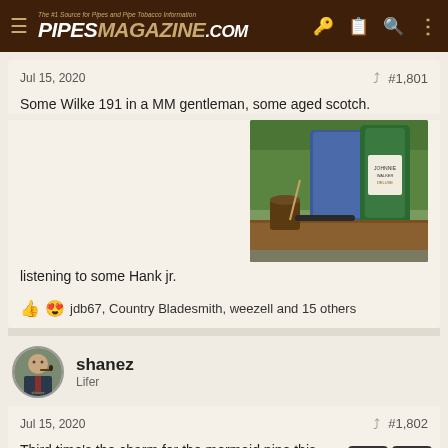PIPESMAGAZINE.COM - The #1 Source for Pipes and Pipe Tobacco Information
Jul 15, 2020  #1,801
Some Wilke 191 in a MM gentleman, some aged scotch.
[Figure (photo): Outdoor table with a corn cob pipe, a small wooden cup, and a bottle of Johnnie Walker Deluxe scotch whisky on a wooden surface with trees in the background]
listening to some Hank jr.
👍😍 jdb67, Country Bladesmith, weezell and 15 others
[Figure (photo): Avatar photo of shanez - a person in formal attire]
shanez
Lifer
Jul 15, 2020  #1,802
Third time's the charm for the mermaid pipe this ... with some Rattray's Exotic Passion and a glass of A.E.